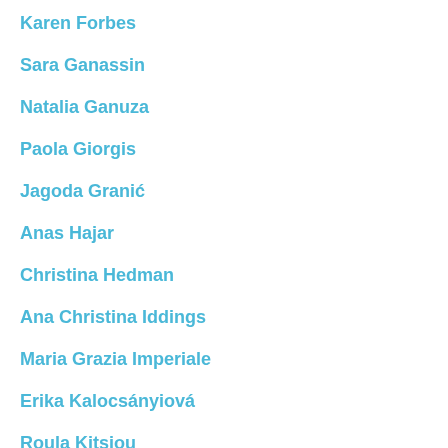Karen Forbes
Sara Ganassin
Natalia Ganuza
Paola Giorgis
Jagoda Granić
Anas Hajar
Christina Hedman
Ana Christina Iddings
Maria Grazia Imperiale
Erika Kalocsányiová
Roula Kitsiou
Polina Kliuchnikova
Yongcan Liu
Gabriela Meier